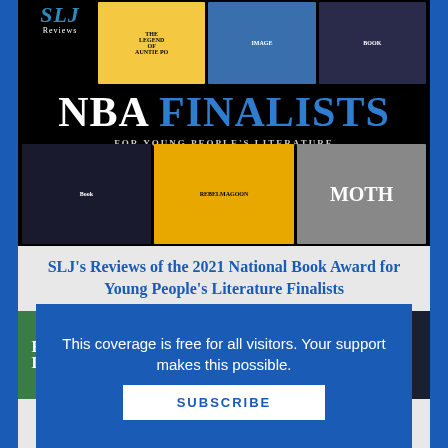[Figure (illustration): SLJ Reviews banner showing 'NBA Finalists for Young People's Literature' with book covers on black background]
SLJ's Reviews of the 2021 National Book Award for Young People's Literature Finalists
[Figure (illustration): Row of book covers on yellow background including Every Look, We Not, When Are So, and The (partially visible titles)]
This coverage is free for all visitors. Your support makes this possible.
SUBSCRIBE